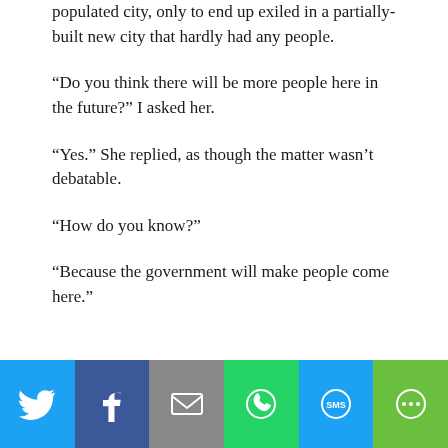populated city, only to end up exiled in a partially-built new city that hardly had any people.
“Do you think there will be more people here in the future?” I asked her.
“Yes.” She replied, as though the matter wasn’t debatable.
“How do you know?”
“Because the government will make people come here.”
[Figure (other): Social sharing bar with icons for Twitter, Facebook, Email, WhatsApp, SMS, and More]